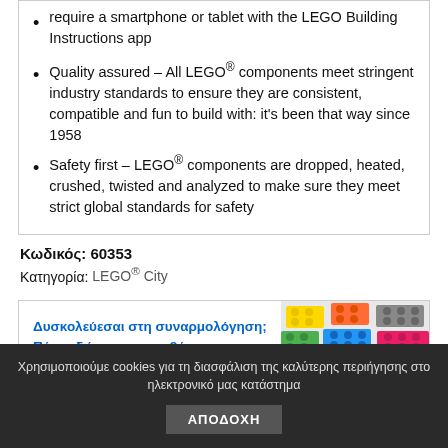require a smartphone or tablet with the LEGO Building Instructions app
Quality assured – All LEGO® components meet stringent industry standards to ensure they are consistent, compatible and fun to build with: it's been that way since 1958
Safety first – LEGO® components are dropped, heated, crushed, twisted and analyzed to make sure they meet strict global standards for safety
Κωδικός: 60353
Κατηγορία: LEGO® City
[Figure (infographic): Banner with colorful LEGO bricks image on right and blue text link on left: Δυσκολεύεσαι στη συναρμολόγηση; Πάτα εδώ για να κατεβάσεις τις οδηγίες!]
Χρησιμοποιούμε cookies για τη διασφάλιση της καλύτερης περιήγησης στο ηλεκτρονικό μας κατάστημα ΑΠΟΔΟΧΗ